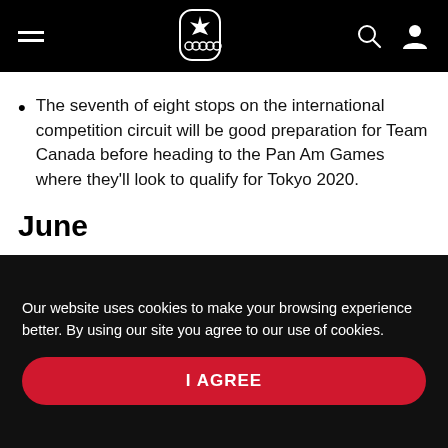Canadian Olympic Committee navigation bar with hamburger menu, logo, search, and profile icons
The seventh of eight stops on the international competition circuit will be good preparation for Team Canada before heading to the Pan Am Games where they'll look to qualify for Tokyo 2020.
June
[Figure (photo): Partial photo showing a person wearing a cap with Canadian maple leaf emblem, dark blurred background]
Our website uses cookies to make your browsing experience better. By using our site you agree to our use of cookies.
I AGREE